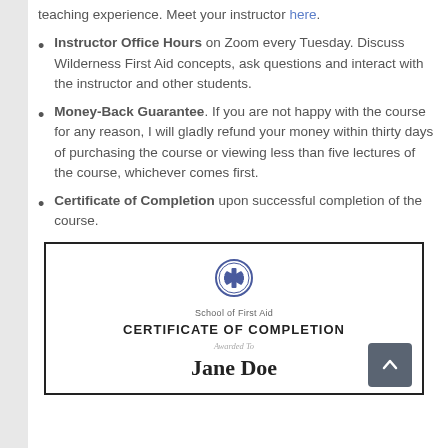teaching experience. Meet your instructor here.
Instructor Office Hours on Zoom every Tuesday. Discuss Wilderness First Aid concepts, ask questions and interact with the instructor and other students.
Money-Back Guarantee. If you are not happy with the course for any reason, I will gladly refund your money within thirty days of purchasing the course or viewing less than five lectures of the course, whichever comes first.
Certificate of Completion upon successful completion of the course.
[Figure (illustration): Certificate of Completion from School of First Aid awarded to Jane Doe, with a medical star-of-life icon at the top.]